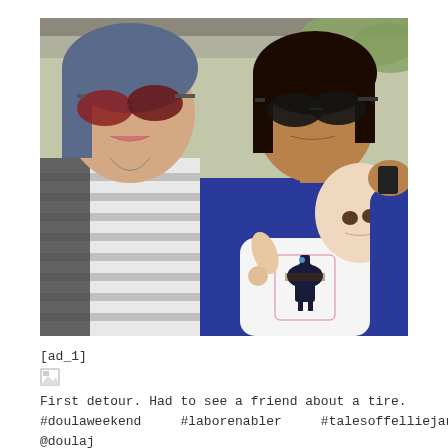[Figure (photo): Selfie photo of two women with sunglasses and a baby. Left woman has blue-tinted hair, wearing striped shirt and dark cardigan, making a pouty face. Middle woman wearing dark sunglasses and blue top, holding a baby in a white onesie with a llama/deer graphic. Background shows a car interior and greenery.]
[ad_1]
[Figure (other): Broken image placeholder icon]
First detour. Had to see a friend about a tire. #doulaweekend #laborenabler #talesoffelliejane @doulaj